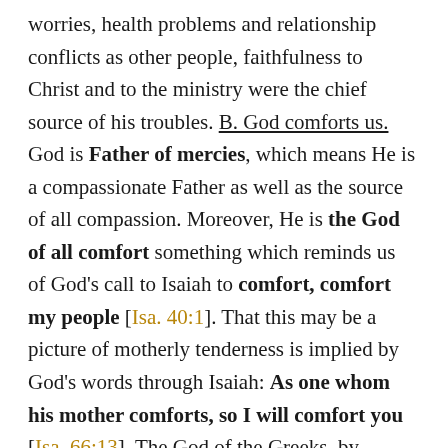worries, health problems and relationship conflicts as other people, faithfulness to Christ and to the ministry were the chief source of his troubles. B. God comforts us. God is Father of mercies, which means He is a compassionate Father as well as the source of all compassion. Moreover, He is the God of all comfort something which reminds us of God's call to Isaiah to comfort, comfort my people [Isa. 40:1]. That this may be a picture of motherly tenderness is implied by God's words through Isaiah: As one whom his mother comforts, so I will comfort you [Isa. 66:13]. The God of the Greeks, by contrast, was quite indifferent to human pain. This deity, which merely existed, possessed no knowable qualities and exerted no influence in the world. The God who is revealed in the Bible, however, has knowable qualities and is active in His creation. If God is the source of mercy and